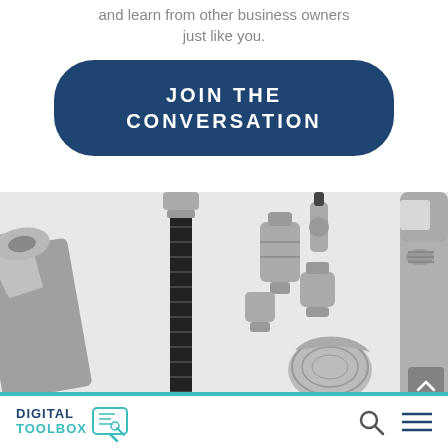and learn from other business owners just like you.
[Figure (other): Blue rounded rectangle button with text JOIN THE CONVERSATION in white uppercase letters with wide letter-spacing]
[Figure (photo): Black and white photograph of various plumbing and hardware tools: wrench, flexible hose, pipe fittings, valve, adjustable wrench, and wire mesh on white background]
[Figure (logo): Digital Toolbox logo with circuit-board style icon and teal/navy text]